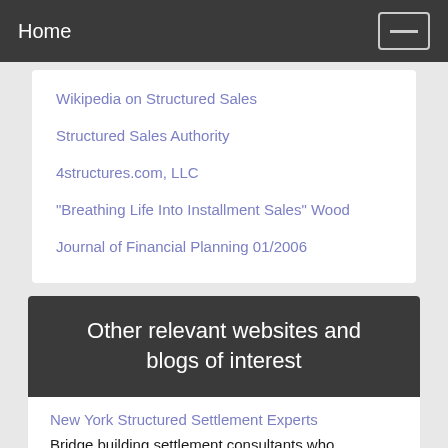Home
Wikipedia on Structured Sales
Structured Sales Authority
4structures.com, LLC
"Breathing Life Into Installment Sales" Wood
Journal of Financial Planning 01/2006
Other relevant websites and blogs of interest
New York Structured Settlement Experts
Bridge building settlement consultants who collaborate with clients using a humanistic process, providing